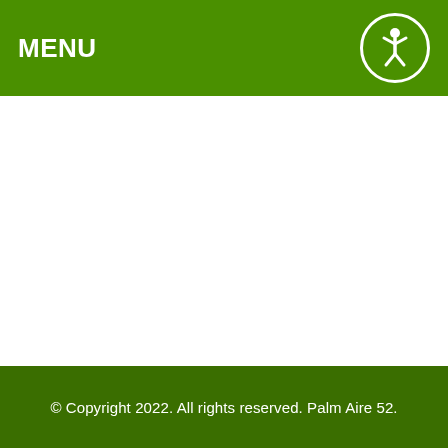MENU
[Figure (logo): Circular accessibility/person icon logo in white on green background]
© Copyright 2022. All rights reserved. Palm Aire 52.